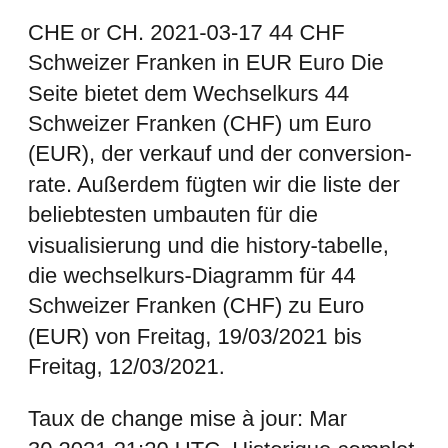CHE or CH. 2021-03-17 44 CHF Schweizer Franken in EUR Euro Die Seite bietet dem Wechselkurs 44 Schweizer Franken (CHF) um Euro (EUR), der verkauf und der conversion-rate. Außerdem fügten wir die liste der beliebtesten umbauten für die visualisierung und die history-tabelle, die wechselkurs-Diagramm für 44 Schweizer Franken (CHF) zu Euro (EUR) von Freitag, 19/03/2021 bis Freitag, 12/03/2021.
Taux de change mise à jour: Mar 30,2021 21:20 UTC. Historique complet s'il vous plaît visitez CHF/EUR Histoire 44.50 Swiss Francs (CHF) in Euros (EUR) 10 years ago On March 12, 2011 44.50 Swiss Francs were 34.54 Euros, because the CHF to EUR exchange rate 10 years ago was 1 CHF = 0.776175332376 EUR The page provides